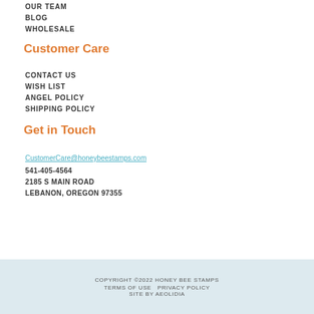BLOG
WHOLESALE
Customer Care
CONTACT US
WISH LIST
ANGEL POLICY
SHIPPING POLICY
Get in Touch
CustomerCare@honeybeestamps.com
541-405-4564
2185 S MAIN ROAD
LEBANON, OREGON 97355
COPYRIGHT ©2022 HONEY BEE STAMPS   TERMS OF USE   PRIVACY POLICY   SITE BY AEOLIDIA